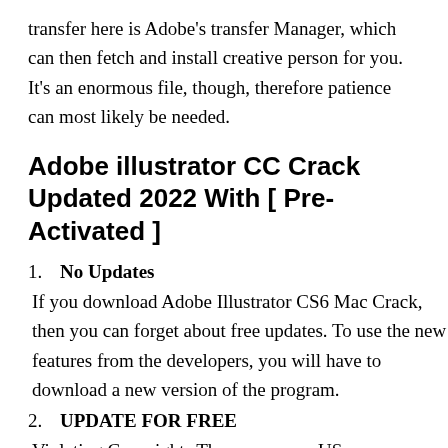transfer here is Adobe's transfer Manager, which can then fetch and install creative person for you. It's an enormous file, though, therefore patience can most likely be needed.
Adobe illustrator CC Crack Updated 2022 With [ Pre-Activated ]
No Updates
If you download Adobe Illustrator CS6 Mac Crack, then you can forget about free updates. To use the new features from the developers, you will have to download a new version of the program.
UPDATE FOR FREE
Violating Copyrights There are some US